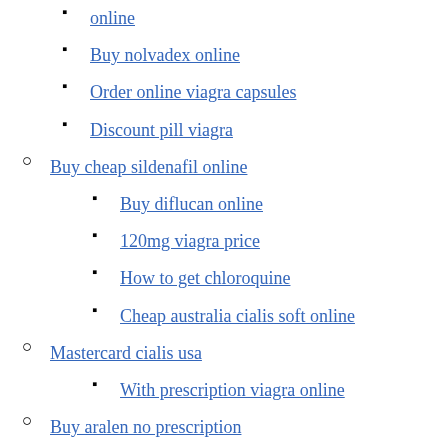online
Buy nolvadex online
Order online viagra capsules
Discount pill viagra
Buy cheap sildenafil online
Buy diflucan online
120mg viagra price
How to get chloroquine
Cheap australia cialis soft online
Mastercard cialis usa
With prescription viagra online
Buy aralen no prescription